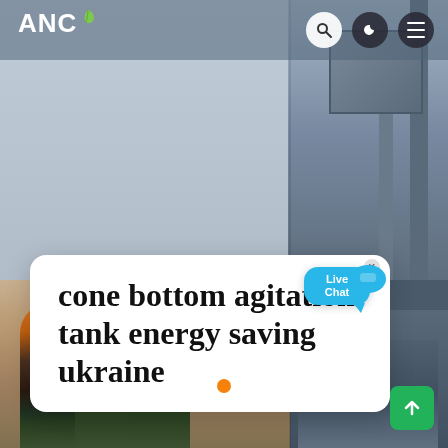ANC
[Figure (photo): Website screenshot showing industrial/engineering context with a header containing ANC logo, navigation icons (search, dark mode, menu), a white card overlay with title text, workers in hard hats on a construction site on the left, and industrial tank/conveyor structure on the right. Live Chat bubble visible. Dot slide indicators at bottom. Green scroll-up button bottom right.]
cone bottom agitation tank energy saving ukraine